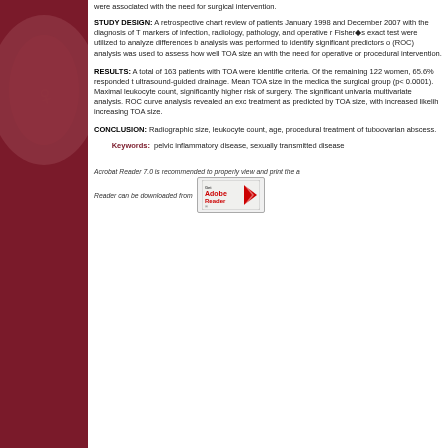were associated with the need for surgical intervention.
STUDY DESIGN: A retrospective chart review of patients January 1998 and December 2007 with the diagnosis of T markers of infection, radiology, pathology, and operative r Fisher◆s exact test were utilized to analyze differences b analysis was performed to identify significant predictors o (ROC) analysis was used to assess how well TOA size an with the need for operative or procedural intervention.
RESULTS: A total of 163 patients with TOA were identifie criteria. Of the remaining 122 women, 65.6% responded t ultrasound-guided drainage. Mean TOA size in the medica the surgical group (p< 0.0001). Maximal leukocyte count, significantly higher risk of surgery. The significant univaria multivariate analysis. ROC curve analysis revealed an exc treatment as predicted by TOA size, with increased likelih increasing TOA size.
CONCLUSION: Radiographic size, leukocyte count, age, procedural treatment of tuboovarian abscess.
Keywords: pelvic inflammatory disease, sexually transmitted disease
Acrobat Reader 7.0 is recommended to properly view and print the a Reader can be downloaded from
[Figure (logo): Get Adobe Reader logo badge]